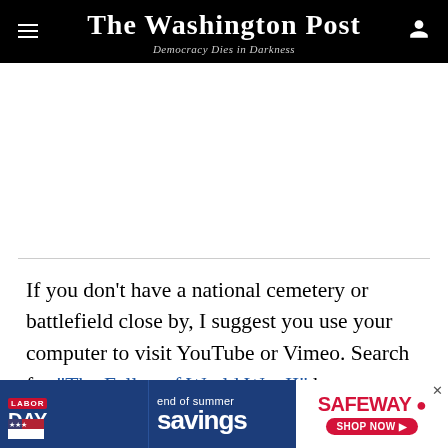The Washington Post — Democracy Dies in Darkness
[Figure (other): Advertisement placeholder white space]
If you don't have a national cemetery or battlefield close by, I suggest you use your computer to visit YouTube or Vimeo. Search for “The Fallen of World War II” by a man named Neil Halloran. This 18-minute “cinematic data visualization” brilliantly takes you from the tragedy of an individual killed in the war to
[Figure (other): Safeway end of summer savings advertisement banner]